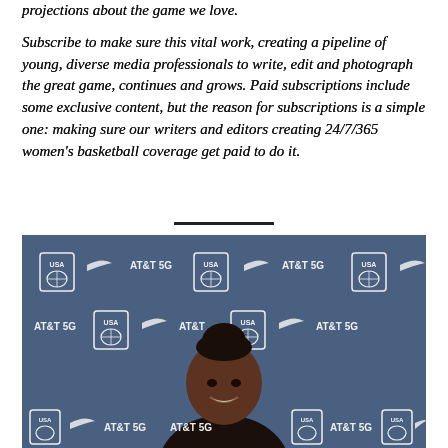projections about the game we love.
Subscribe to make sure this vital work, creating a pipeline of young, diverse media professionals to write, edit and photograph the great game, continues and grows. Paid subscriptions include some exclusive content, but the reason for subscriptions is a simple one: making sure our writers and editors creating 24/7/365 women's basketball coverage get paid to do it.
[Figure (photo): A woman standing in front of a USA Basketball / AT&T 5G / Nike branded backdrop, smiling at the camera with her hair up in a bun.]